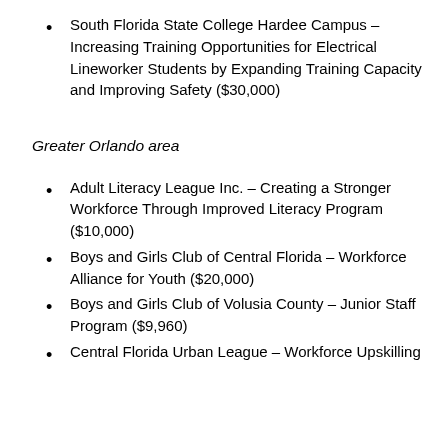South Florida State College Hardee Campus – Increasing Training Opportunities for Electrical Lineworker Students by Expanding Training Capacity and Improving Safety ($30,000)
Greater Orlando area
Adult Literacy League Inc. – Creating a Stronger Workforce Through Improved Literacy Program ($10,000)
Boys and Girls Club of Central Florida – Workforce Alliance for Youth ($20,000)
Boys and Girls Club of Volusia County – Junior Staff Program ($9,960)
Central Florida Urban League – Workforce Upskilling